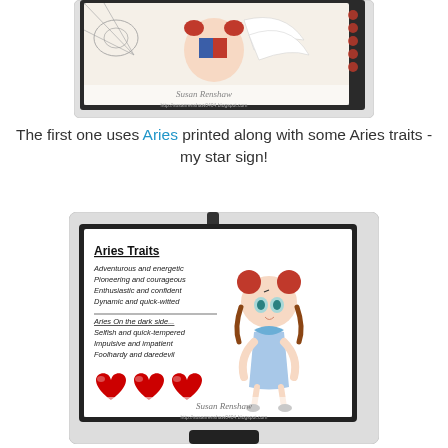[Figure (photo): Cropped photo of a handmade craft card on a display stand, showing illustrated characters with spider web and wings, decorated with red gems on the right side, and a Susan Renshaw watermark/URL at the bottom.]
The first one uses Aries printed along with some Aries traits - my star sign!
[Figure (photo): Photo of a handmade craft card on a display stand showing 'Aries Traits' text listing: Adventurous and energetic, Pioneering and courageous, Enthusiastic and confident, Dynamic and quick-witted, Aries On the dark side... Selfish and quick-tempered, Impulsive and impatient, Foolhardy and daredevil. Three red heart gems at the bottom left, and an anime-style girl character on the right. Susan Renshaw watermark at the bottom.]